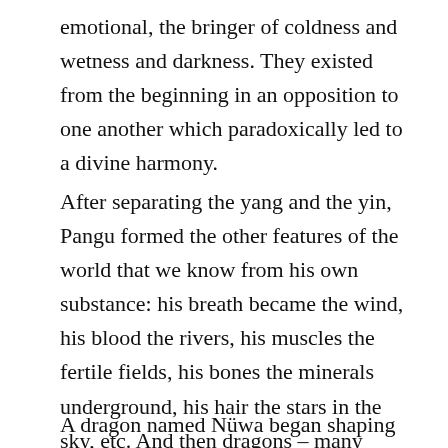emotional, the bringer of coldness and wetness and darkness. They existed from the beginning in an opposition to one another which paradoxically led to a divine harmony.
After separating the yang and the yin, Pangu formed the other features of the world that we know from his own substance: his breath became the wind, his blood the rivers, his muscles the fertile fields, his bones the minerals underground, his hair the stars in the sky, etc. And then dragons – many dragons – came into the new world.
A dragon named Nüwa began shaping humans